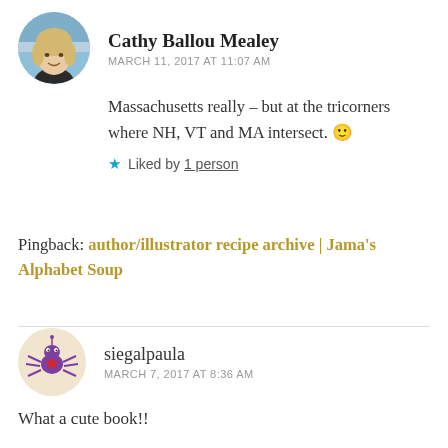Cathy Ballou Mealey
MARCH 11, 2017 AT 11:07 AM
Massachusetts really – but at the tricorners where NH, VT and MA intersect. 🙂
★ Liked by 1 person
Pingback: author/illustrator recipe archive | Jama's Alphabet Soup
[Figure (illustration): Circular avatar of siegalpaula showing a purple cartoon spider/creature with a red star on a light beige background]
siegalpaula
MARCH 7, 2017 AT 8:36 AM
What a cute book!!